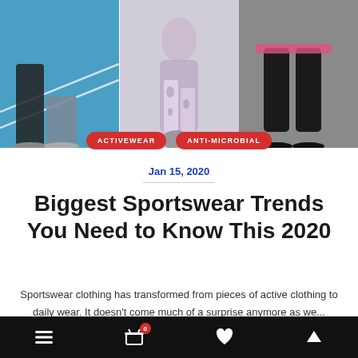[Figure (photo): Three-panel collage of women in sportswear/activewear in gym settings]
ACTIVEWEAR
ANTI-MICROBIAL
Jan 15, 2020
Biggest Sportswear Trends You Need to Know This 2020
Sportswear clothing has transformed from pieces of active clothing to daily wear. It doesn't come much of a surprise anymore as we...
Navigation bar with menu, cart (0), heart, and up arrow icons